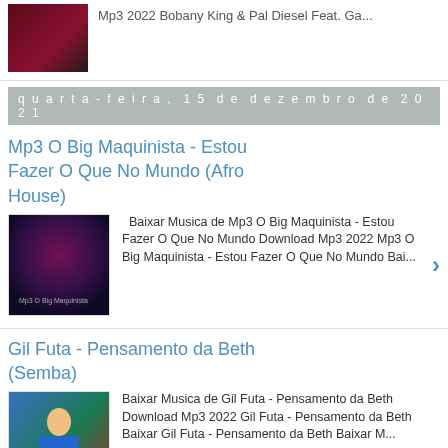Mp3 2022 Bobany King & Pal Diesel Feat. Ga...
quarta-feira, 15 de dezembro de 2021
Mp3 O Big Maquinista - Estou Fazer O Que No Mundo (Afro House)
Baixar Musica de Mp3 O Big Maquinista - Estou Fazer O Que No Mundo Download Mp3 2022 Mp3 O Big Maquinista - Estou Fazer O Que No Mundo Bai...
Gil Futa - Pensamento da Beth (Semba)
Baixar Musica de Gil Futa - Pensamento da Beth Download Mp3 2022 Gil Futa - Pensamento da Beth Baixar Gil Futa - Pensamento da Beth Baixar M...